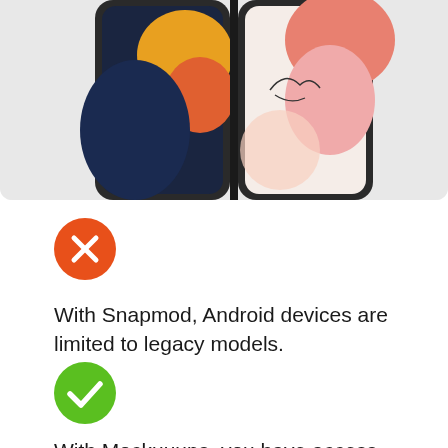[Figure (photo): Two smartphones side by side showing colorful wallpapers — left phone has dark navy background with yellow and orange abstract shapes, right phone has white/salmon background with pink abstract shapes and line art bird illustration]
[Figure (illustration): Orange circle with white X mark inside, indicating a negative/con feature]
With Snapmod, Android devices are limited to legacy models.
[Figure (illustration): Green circle with white checkmark inside, indicating a positive/pro feature]
With Mockuuups, you have access to